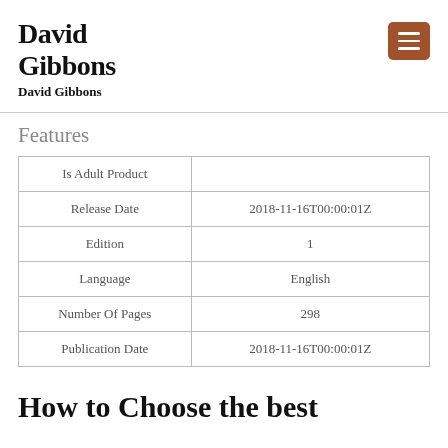David Gibbons
David Gibbons
Features
|  |  |
| --- | --- |
| Is Adult Product |  |
| Release Date | 2018-11-16T00:00:01Z |
| Edition | 1 |
| Language | English |
| Number Of Pages | 298 |
| Publication Date | 2018-11-16T00:00:01Z |
How to Choose the best